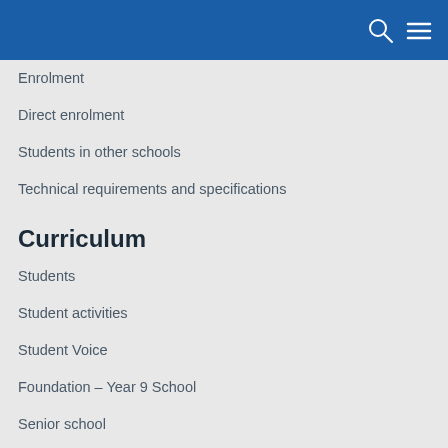Enrolment
Direct enrolment
Students in other schools
Technical requirements and specifications
Curriculum
Students
Student activities
Student Voice
Foundation – Year 9 School
Senior school
Student testimonials